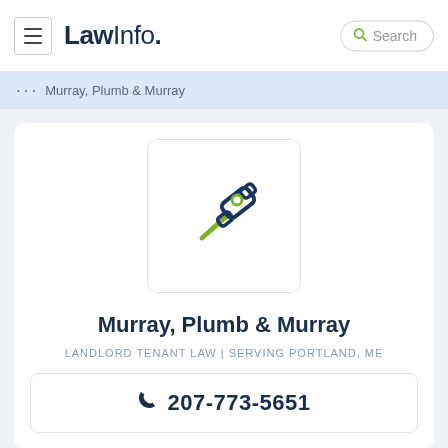LawInfo. Search
... Murray, Plumb & Murray
[Figure (logo): Gavel/hammer icon with dark blue head and olive green handle, inside a rounded rectangle border]
Murray, Plumb & Murray
LANDLORD TENANT LAW | SERVING PORTLAND, ME
207-773-5651